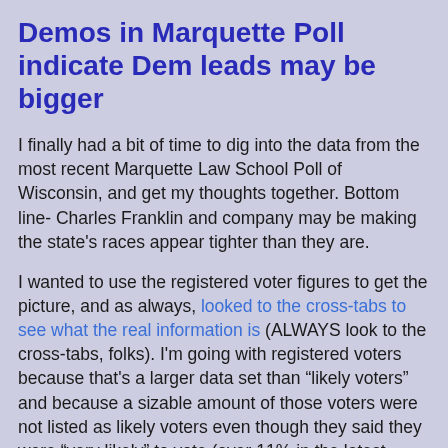Demos in Marquette Poll indicate Dem leads may be bigger
I finally had a bit of time to dig into the data from the most recent Marquette Law School Poll of Wisconsin, and get my thoughts together. Bottom line- Charles Franklin and company may be making the state's races appear tighter than they are.
I wanted to use the registered voter figures to get the picture, and as always, looked to the cross-tabs to see what the real information is (ALWAYS look to the cross-tabs, folks). I'm going with registered voters because that's a larger data set than "likely voters" and because a sizable amount of those voters were not listed as likely voters even though they said they were "very likely" to vote (over 11% in the latest Marquette Law poll fell into this category, and another 7% said they were "50-50").
Let's review the "topline" totals in the poll released last week in the two statewide races for federal office in Wisconsin.